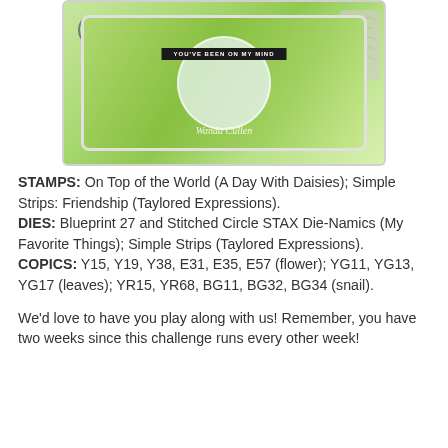[Figure (photo): A handmade greeting card with green background featuring a snail design, circular white die-cut with 'YOU'VE BEEN ON MY MIND' banner in black, watermark reading 'Wanda Cullen', with scissors visible on the left and knitting/yarn on the right]
STAMPS: On Top of the World (A Day With Daisies); Simple Strips: Friendship (Taylored Expressions). DIES: Blueprint 27 and Stitched Circle STAX Die-Namics (My Favorite Things); Simple Strips (Taylored Expressions). COPICS: Y15, Y19, Y38, E31, E35, E57 (flower); YG11, YG13, YG17 (leaves); YR15, YR68, BG11, BG32, BG34 (snail).
We'd love to have you play along with us! Remember, you have two weeks since this challenge runs every other week!